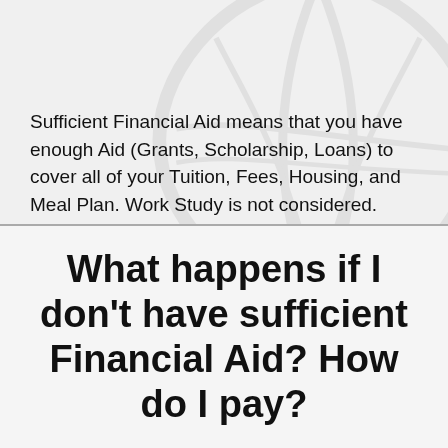Sufficient Financial Aid means that you have enough Aid (Grants, Scholarship, Loans) to cover all of your Tuition, Fees, Housing, and Meal Plan. Work Study is not considered.
What happens if I don't have sufficient Financial Aid? How do I pay?